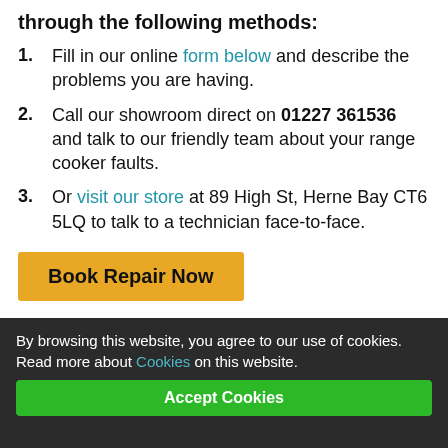through the following methods:
Fill in our online form below and describe the problems you are having.
Call our showroom direct on 01227 361536 and talk to our friendly team about your range cooker faults.
Or visit our store at 89 High St, Herne Bay CT6 5LQ to talk to a technician face-to-face.
Book Repair Now
By browsing this website, you agree to our use of cookies. Read more about Cookies on this website.
Accept Cookies